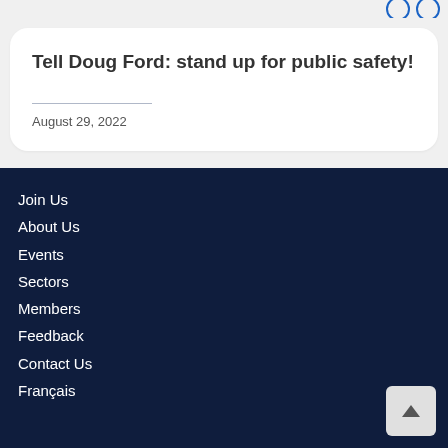Tell Doug Ford: stand up for public safety!
August 29, 2022
See all News
Join Us
About Us
Events
Sectors
Members
Feedback
Contact Us
Français